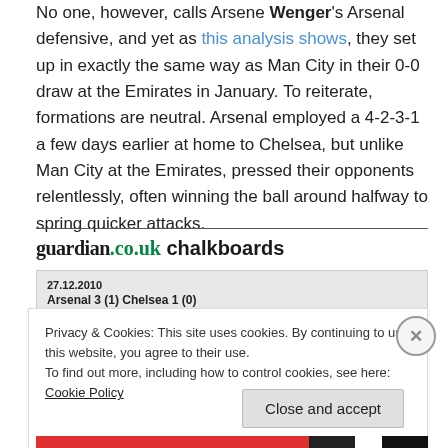No one, however, calls Arsene Wenger's Arsenal defensive, and yet as this analysis shows, they set up in exactly the same way as Man City in their 0-0 draw at the Emirates in January. To reiterate, formations are neutral. Arsenal employed a 4-2-3-1 a few days earlier at home to Chelsea, but unlike Man City at the Emirates, pressed their opponents relentlessly, often winning the ball around halfway to spring quicker attacks.
guardian.co.uk chalkboards
[Figure (screenshot): Chalkboard widget showing Arsenal 3 (1) Chelsea 1 (0) on 27.12.2010, with filter: Arsenal | Interceptions | All | 0-90 mins.]
Privacy & Cookies: This site uses cookies. By continuing to use this website, you agree to their use. To find out more, including how to control cookies, see here: Cookie Policy
Close and accept